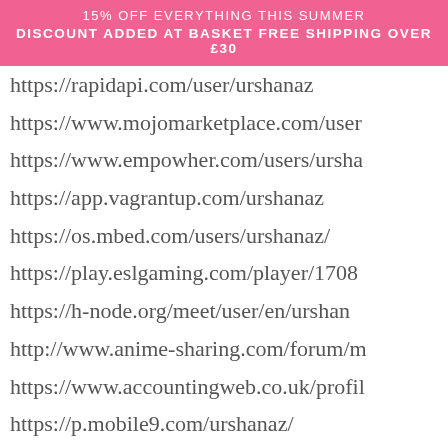15% OFF EVERYTHING THIS SUMMER
DISCOUNT ADDED AT BASKET FREE SHIPPING OVER £30
https://rapidapi.com/user/urshanaz
https://www.mojomarketplace.com/user...
https://www.empowher.com/users/ursha...
https://app.vagrantup.com/urshanaz
https://os.mbed.com/users/urshanaz/
https://play.eslgaming.com/player/1708...
https://h-node.org/meet/user/en/urshan...
http://www.anime-sharing.com/forum/m...
https://www.accountingweb.co.uk/profil...
https://p.mobile9.com/urshanaz/
https://trabajo.merca20.com/author/ur...
http://bcmoney-mobiletv.com/urshanaz...
https://www.giveawayoftheday.com/fo...